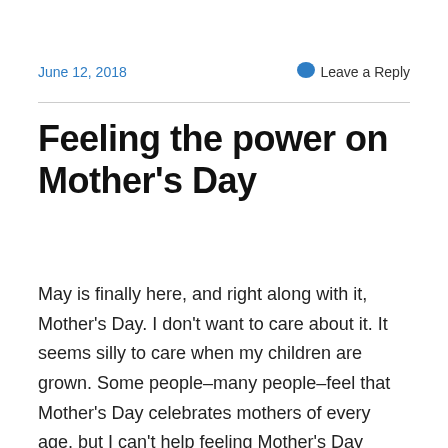June 12, 2018   Leave a Reply
Feeling the power on Mother's Day
May is finally here, and right along with it, Mother's Day. I don't want to care about it. It seems silly to care when my children are grown. Some people–many people–feel that Mother's Day celebrates mothers of every age, but I can't help feeling Mother's Day properly belongs to those with young children, who need that one day to sleep in and receive, queen-like, extra hugs and hand-made cards from